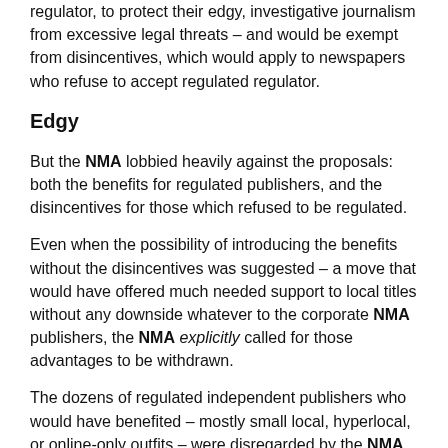regulator, to protect their edgy, investigative journalism from excessive legal threats – and would be exempt from disincentives, which would apply to newspapers who refuse to accept regulated regulator.
Edgy
But the NMA lobbied heavily against the proposals: both the benefits for regulated publishers, and the disincentives for those which refused to be regulated.
Even when the possibility of introducing the benefits without the disincentives was suggested – a move that would have offered much needed support to local titles without any downside whatever to the corporate NMA publishers, the NMA explicitly called for those advantages to be withdrawn.
The dozens of regulated independent publishers who would have benefited – mostly small local, hyperlocal, or online-only outfits – were disregarded by the NMA, who were determined to make them suffer for refusing to fall into line with its anti-accountability, anti-press freedom agenda.